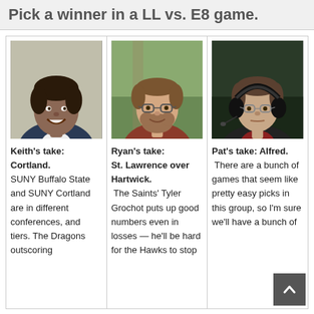Pick a winner in a LL vs. E8 game.
[Figure (photo): Photo of Keith, a smiling man in a suit]
Keith's take: Cortland. SUNY Buffalo State and SUNY Cortland are in different conferences, and tiers. The Dragons outscoring
[Figure (photo): Photo of Ryan, a man with glasses and beard outdoors]
Ryan's take: St. Lawrence over Hartwick. The Saints' Tyler Grochot puts up good numbers even in losses — he'll be hard for the Hawks to stop
[Figure (photo): Photo of Pat, a man wearing headphones in a broadcast setting]
Pat's take: Alfred. There are a bunch of games that seem like pretty easy picks in this group, so I'm sure we'll have a bunch of